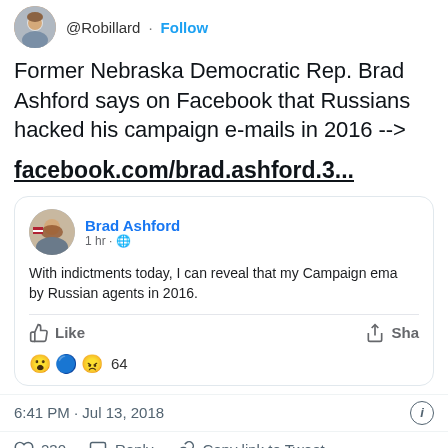[Figure (screenshot): Twitter/X screenshot showing a tweet by @Robillard about Brad Ashford's Facebook post claiming Russians hacked his campaign emails in 2016, with embedded Facebook post card, timestamp 6:41 PM Jul 13 2018, 230 likes, and Read 12 replies button.]
@Robillard · Follow
Former Nebraska Democratic Rep. Brad Ashford says on Facebook that Russians hacked his campaign e-mails in 2016 -->
facebook.com/brad.ashford.3...
Brad Ashford
1 hr · 🌐
With indictments today, I can reveal that my Campaign ema by Russian agents in 2016.
6:41 PM · Jul 13, 2018
230  Reply  Copy link to Tweet
Read 12 replies